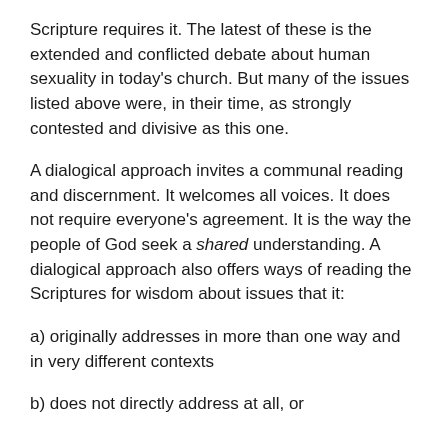Scripture requires it. The latest of these is the extended and conflicted debate about human sexuality in today’s church. But many of the issues listed above were, in their time, as strongly contested and divisive as this one.
A dialogical approach invites a communal reading and discernment. It welcomes all voices. It does not require everyone’s agreement. It is the way the people of God seek a shared understanding. A dialogical approach also offers ways of reading the Scriptures for wisdom about issues that it:
a) originally addresses in more than one way and in very different contexts
b) does not directly address at all, or